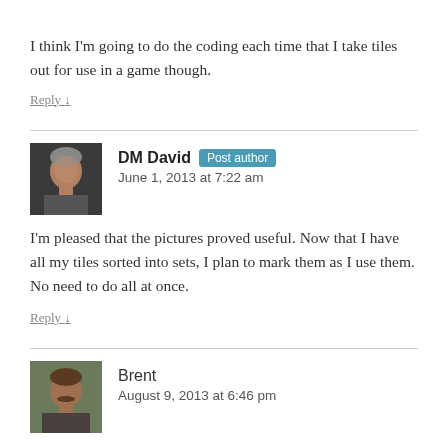I think I'm going to do the coding each time that I take tiles out for use in a game though.
Reply ↓
DM David Post author
June 1, 2013 at 7:22 am
I'm pleased that the pictures proved useful. Now that I have all my tiles sorted into sets, I plan to mark them as I use them. No need to do all at once.
Reply ↓
Brent
August 9, 2013 at 6:46 pm